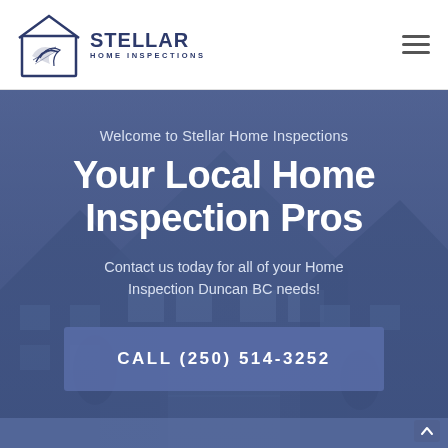[Figure (logo): Stellar Home Inspections logo — house outline with bird/pen graphic, company name STELLAR HOME INSPECTIONS in navy blue]
Welcome to Stellar Home Inspections
Your Local Home Inspection Pros
Contact us today for all of your Home Inspection Duncan BC needs!
CALL (250) 514-3252